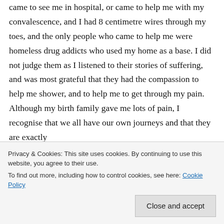came to see me in hospital, or came to help me with my convalescence, and I had 8 centimetre wires through my toes, and the only people who came to help me were homeless drug addicts who used my home as a base. I did not judge them as I listened to their stories of suffering, and was most grateful that they had the compassion to help me shower, and to help me to get through my pain. Although my birth family gave me lots of pain, I recognise that we all have our own journeys and that they are exactly
Privacy & Cookies: This site uses cookies. By continuing to use this website, you agree to their use. To find out more, including how to control cookies, see here: Cookie Policy